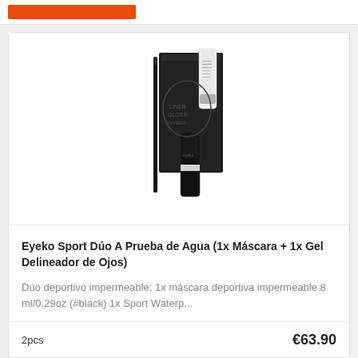[Figure (photo): Eyeko Sport Duo product photo showing mascara wand, black tube, and white gel tube against black packaging box]
Eyeko Sport Dúo A Prueba de Agua (1x Máscara + 1x Gel Delineador de Ojos)
Dúo deportivo impermeable: 1x máscara deportiva impermeable 8 ml/0.29oz (#black) 1x Sport Waterp...
2pcs
€63.90